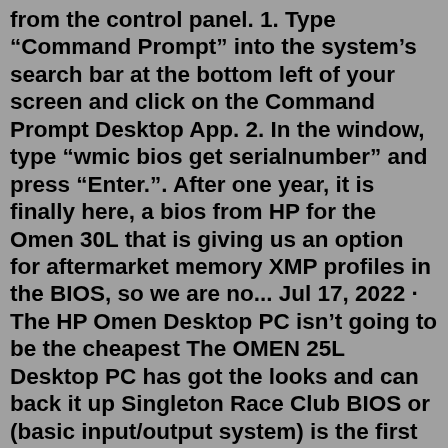from the control panel. 1. Type “Command Prompt” into the system’s search bar at the bottom left of your screen and click on the Command Prompt Desktop App. 2. In the window, type “wmic bios get serialnumber” and press “Enter.”. After one year, it is finally here, a bios from HP for the Omen 30L that is giving us an option for aftermarket memory XMP profiles in the BIOS, so we are no... Jul 17, 2022 · The HP Omen Desktop PC isn’t going to be the cheapest The OMEN 25L Desktop PC has got the looks and can back it up Singleton Race Club BIOS or (basic input/output system) is the first program which loads whenever your computer is turned on First of all, keep a backup of your important files in Google Drive or Dropbox or any other similar ... 2. Insert the USB into your computer. If your computer has a tower, you'll find USB ports on the front and back of it; if you're using an all-in-one, you'll find USB ports on the back of the monitor; and if you're using a laptop, the USB ports are located on the sides of your computer. 3. Download the BIOS update. Jul 17, 2022